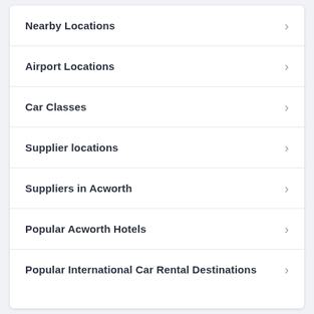Nearby Locations
Airport Locations
Car Classes
Supplier locations
Suppliers in Acworth
Popular Acworth Hotels
Popular International Car Rental Destinations